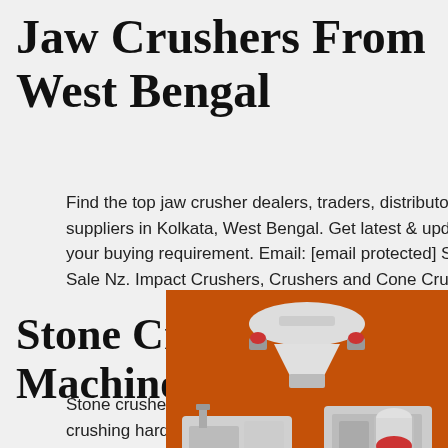Jaw Crushers From West Bengal
Find the top jaw crusher dealers, traders, distributors, wholesalers, manufacturers & suppliers in Kolkata, West Bengal. Get latest & updated jaw crusher prices in Kolkata for your buying requirement. Email: [email protected] Send Message Chat Jaw Crushers For Sale Nz. Impact Crushers, Crushers and Cone Crushers.
Stone Crusher Machine In Kolkata
[Figure (illustration): Advertisement panel showing stone crusher machines on orange background with 'Enjoy 3% discount', 'Click to Chat', 'Enquiry', and 'limingjlmofen@sina.com' text]
Stone crusher in kolkata, stone crusher dealers traders the jaw crusher machine is used for crushing hard stone and different materials, designed to maximum output to suit heavy and continuous